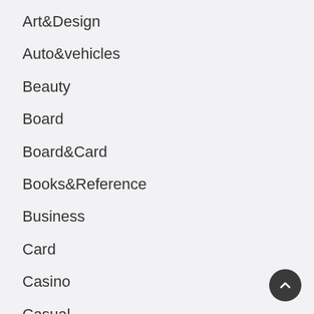Art&Design
Auto&vehicles
Beauty
Board
Board&Card
Books&Reference
Business
Card
Casino
Casual
Comics
Communication
Dating
Education